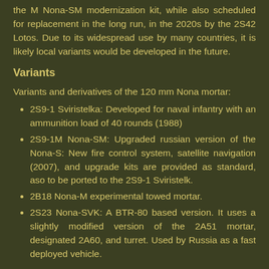the M Nona-SM modernization kit, while also scheduled for replacement in the long run, in the 2020s by the 2S42 Lotos. Due to its widespread use by many countries, it is likely local variants would be developed in the future.
Variants
Variants and derivatives of the 120 mm Nona mortar:
2S9-1 Sviristelka: Developed for naval infantry with an ammunition load of 40 rounds (1988)
2S9-1M Nona-SM: Upgraded russian version of the Nona-S: New fire control system, satellite navigation (2007), and upgrade kits are provided as standard, aso to be ported to the 2S9-1 Sviristelk.
2B18 Nona-M experimental towed mortar.
2S23 Nona-SVK: A BTR-80 based version. It uses a slightly modified version of the 2A51 mortar, designated 2A60, and turret. Used by Russia as a fast deployed vehicle.